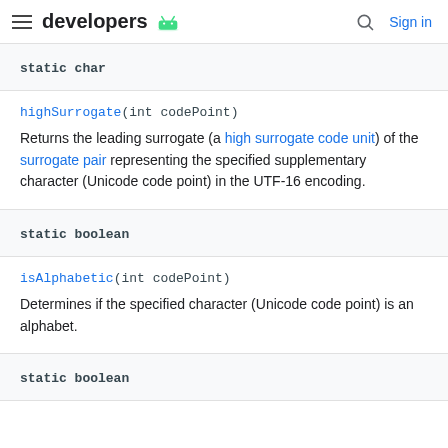developers [android logo] [search] Sign in
static char
highSurrogate(int codePoint)
Returns the leading surrogate (a high surrogate code unit) of the surrogate pair representing the specified supplementary character (Unicode code point) in the UTF-16 encoding.
static boolean
isAlphabetic(int codePoint)
Determines if the specified character (Unicode code point) is an alphabet.
static boolean